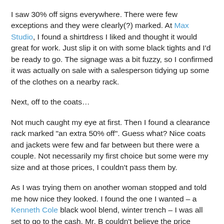I saw 30% off signs everywhere. There were few exceptions and they were clearly(?) marked. At Max Studio, I found a shirtdress I liked and thought it would great for work. Just slip it on with some black tights and I'd be ready to go. The signage was a bit fuzzy, so I confirmed it was actually on sale with a salesperson tidying up some of the clothes on a nearby rack.
Next, off to the coats...
Not much caught my eye at first. Then I found a clearance rack marked "an extra 50% off". Guess what? Nice coats and jackets were few and far between but there were a couple. Not necessarily my first choice but some were my size and at those prices, I couldn't pass them by.
As I was trying them on another woman stopped and told me how nice they looked. I found the one I wanted – a Kenneth Cole black wool blend, winter trench – I was all set to go to the cash. Mr. B couldn't believe the price <$100. He was sure someone made a mistake. I didn't want to believe him.